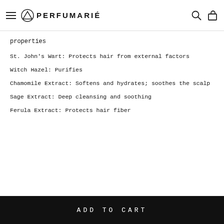PERFUMARIÉ
properties
St. John's Wart: Protects hair from external factors
Witch Hazel: Purifies
Chamomile Extract: Softens and hydrates; soothes the scalp
Sage Extract: Deep cleansing and soothing
Ferula Extract: Protects hair fiber
ADD TO CART